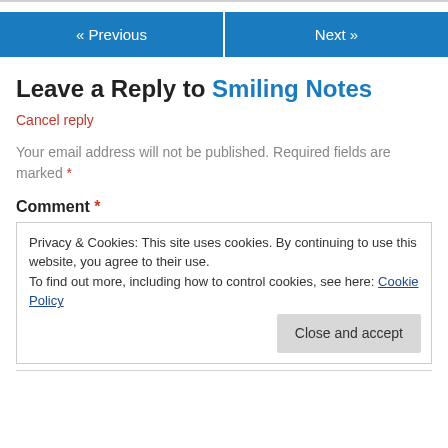« Previous   Next »
Leave a Reply to Smiling Notes
Cancel reply
Your email address will not be published. Required fields are marked *
Comment *
Privacy & Cookies: This site uses cookies. By continuing to use this website, you agree to their use.
To find out more, including how to control cookies, see here: Cookie Policy
Close and accept